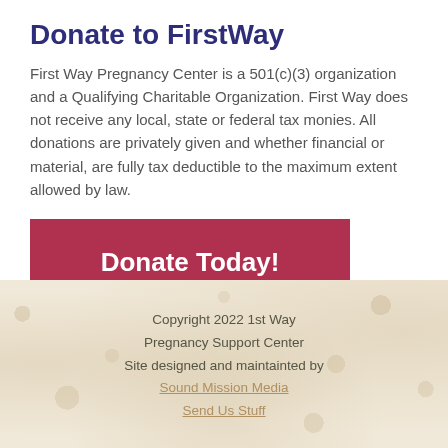Donate to FirstWay
First Way Pregnancy Center is a 501(c)(3) organization and a Qualifying Charitable Organization. First Way does not receive any local, state or federal tax monies. All donations are privately given and whether financial or material, are fully tax deductible to the maximum extent allowed by law.
[Figure (other): Red button labeled 'Donate Today!']
Copyright 2022 1st Way
Pregnancy Support Center
Site designed and maintainted by
Sound Mission Media
Send Us Stuff